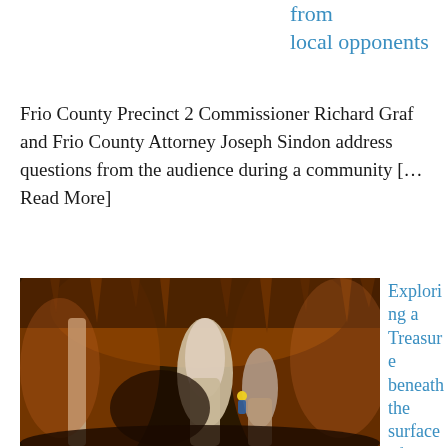from local opponents
Frio County Precinct 2 Commissioner Richard Graf and Frio County Attorney Joseph Sindon address questions from the audience during a community [...Read More]
[Figure (photo): Interior of a cave showing stalactites and stalagmites with a person visible inside illuminated by a yellow light]
Exploring a Treasure beneath the surface of Medina County